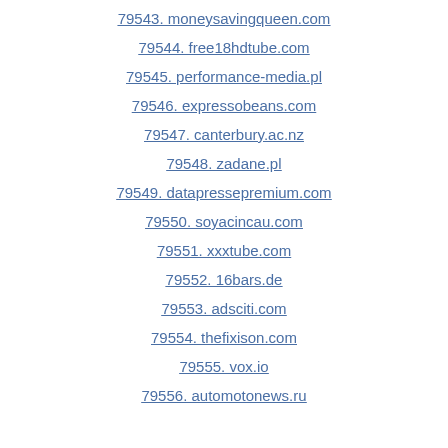79543. moneysavingqueen.com
79544. free18hdtube.com
79545. performance-media.pl
79546. expressobeans.com
79547. canterbury.ac.nz
79548. zadane.pl
79549. datapressepremium.com
79550. soyacincau.com
79551. xxxtube.com
79552. 16bars.de
79553. adsciti.com
79554. thefixison.com
79555. vox.io
79556. automotonews.ru